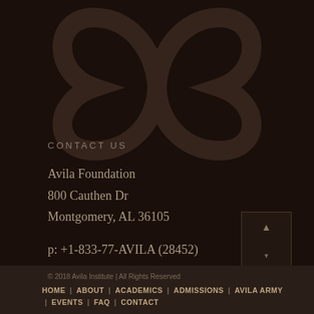[Figure (logo): Avila Institute watermark logo - a stylized intertwined letter design in dark brown on dark background]
CONTACT US
Avila Foundation
800 Cauthen Dr
Montgomery, AL 36105
p: +1-833-77-AVILA (28452)
e: inquiries@myavila.com
© 2018 Avila Institute | All Rights Reserved
HOME | ABOUT | ACADEMICS | ADMISSIONS | AVILA ARMY
| EVENTS | FAQ | CONTACT